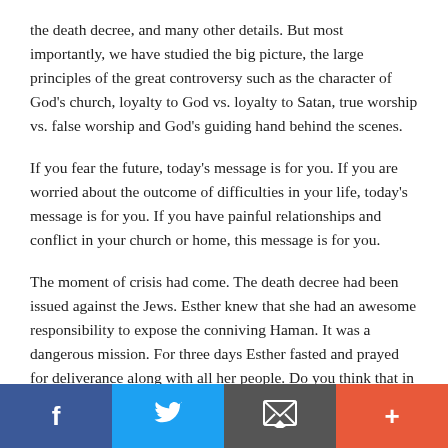the death decree, and many other details. But most importantly, we have studied the big picture, the large principles of the great controversy such as the character of God's church, loyalty to God vs. loyalty to Satan, true worship vs. false worship and God's guiding hand behind the scenes.
If you fear the future, today's message is for you. If you are worried about the outcome of difficulties in your life, today's message is for you. If you have painful relationships and conflict in your church or home, this message is for you.
The moment of crisis had come. The death decree had been issued against the Jews. Esther knew that she had an awesome responsibility to expose the conniving Haman. It was a dangerous mission. For three days Esther fasted and prayed for deliverance along with all her people. Do you think that in the time of trouble the remnant will be doing a
Facebook | Twitter | Email | +